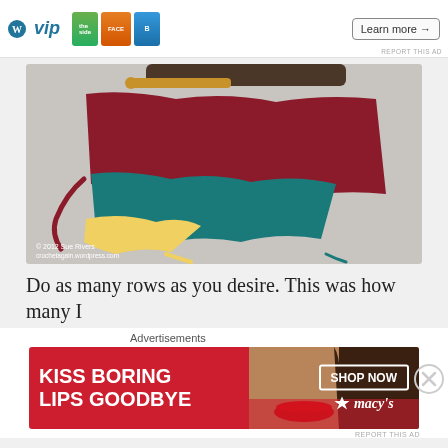[Figure (photo): Top advertisement banner with WordPress VIP logo, beauty product packaging images, and 'Learn more →' button on white background]
[Figure (photo): Photo of a crochet granny square in progress with red, teal, and yellow yarn, with a gold crochet hook with black handle. Copyright 2012 Sue Rivers, crochetagain.wordpress.com]
Do as many rows as you desire.  This was how many I
Advertisements
[Figure (photo): Macy's advertisement banner with red background showing a woman's face with red lipstick. Text: 'KISS BORING LIPS GOODBYE' with 'SHOP NOW' button and Macy's star logo]